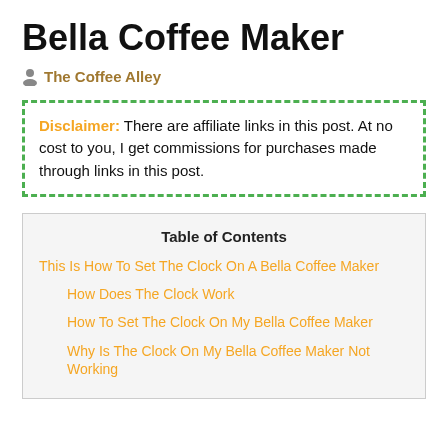Bella Coffee Maker
The Coffee Alley
Disclaimer: There are affiliate links in this post. At no cost to you, I get commissions for purchases made through links in this post.
Table of Contents
This Is How To Set The Clock On A Bella Coffee Maker
How Does The Clock Work
How To Set The Clock On My Bella Coffee Maker
Why Is The Clock On My Bella Coffee Maker Not Working